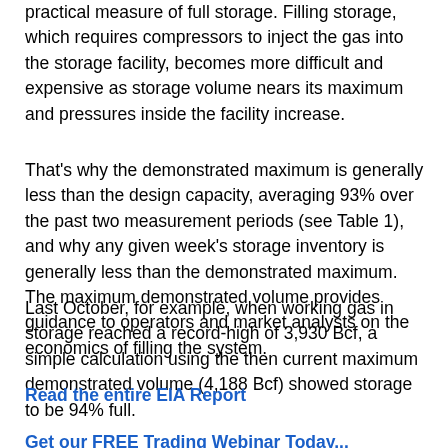practical measure of full storage. Filling storage, which requires compressors to inject the gas into the storage facility, becomes more difficult and expensive as storage volume nears its maximum and pressures inside the facility increase.
That's why the demonstrated maximum is generally less than the design capacity, averaging 93% over the past two measurement periods (see Table 1), and why any given week's storage inventory is generally less than the demonstrated maximum. The maximum demonstrated volume provides guidance to operators and market analysts on the economics of filling the system.
Last October, for example, when working gas in storage reached a record-high of 3,930 Bcf, a simple calculation using the then current maximum demonstrated volume (4,188 Bcf) showed storage to be 94% full.
Read the entire EIA Report
Get our FREE Trading Webinar Today...